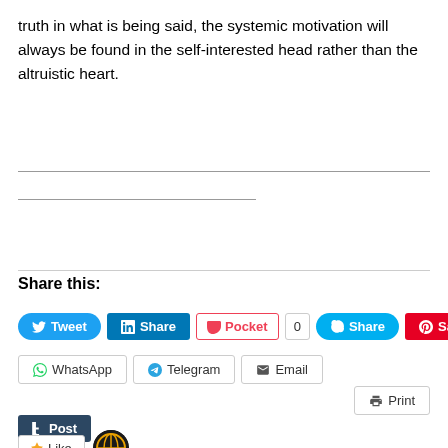truth in what is being said, the systemic motivation will always be found in the self-interested head rather than the altruistic heart.
Share this:
[Figure (other): Social sharing buttons row 1: Tweet (Twitter), Share (LinkedIn), Pocket with count 0, Share (Skype), Save (Pinterest)]
[Figure (other): Social sharing buttons row 2: WhatsApp, Telegram, Email, Print]
[Figure (other): Tumblr Post button and Like button with circular icon]